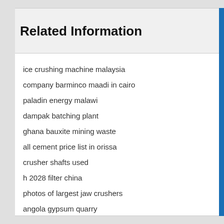Related Information
ice crushing machine malaysia
company barminco maadi in cairo
paladin energy malawi
dampak batching plant
ghana bauxite mining waste
all cement price list in orissa
crusher shafts used
h 2028 filter china
photos of largest jaw crushers
angola gypsum quarry